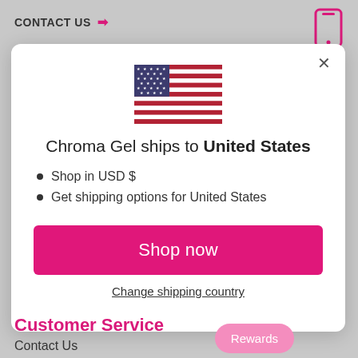CONTACT US
[Figure (screenshot): A modal dialog box showing a US flag, shipping information for United States, a pink Shop now button, and a Change shipping country link. Background shows a website with CONTACT US header and Customer Service section.]
Chroma Gel ships to United States
Shop in USD $
Get shipping options for United States
Shop now
Change shipping country
Customer Service
Contact Us
Rewards